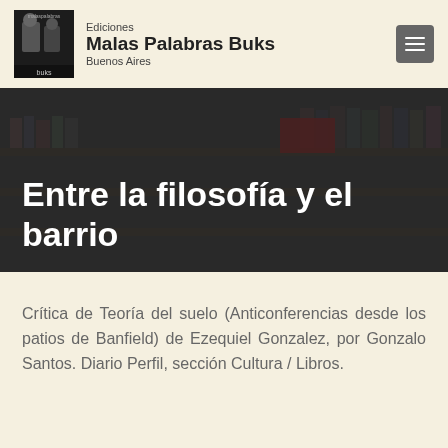Ediciones Malas Palabras Buks Buenos Aires
[Figure (photo): Hero background photo of a bookstore interior with shelves and stacked books, darkened overlay]
Entre la filosofía y el barrio
Crítica de Teoría del suelo (Anticonferencias desde los patios de Banfield) de Ezequiel Gonzalez, por Gonzalo Santos. Diario Perfil, sección Cultura / Libros.